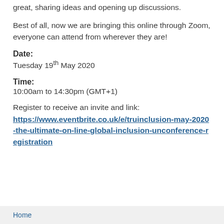great, sharing ideas and opening up discussions.
Best of all, now we are bringing this online through Zoom, everyone can attend from wherever they are!
Date:
Tuesday 19th May 2020
Time:
10:00am to 14:30pm (GMT+1)
Register to receive an invite and link:
https://www.eventbrite.co.uk/e/truinclusion-may-2020-the-ultimate-on-line-global-inclusion-unconference-registration
Home